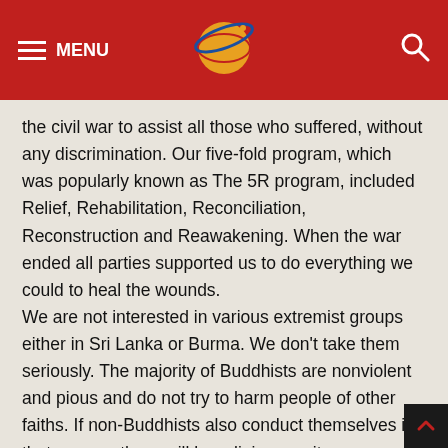MENU [logo] [search]
the civil war to assist all those who suffered, without any discrimination. Our five-fold program, which was popularly known as The 5R program, included Relief, Rehabilitation, Reconciliation, Reconstruction and Reawakening. When the war ended all parties supported us to do everything we could to heal the wounds.
We are not interested in various extremist groups either in Sri Lanka or Burma. We don't take them seriously. The majority of Buddhists are nonviolent and pious and do not try to harm people of other faiths. If non-Buddhists also conduct themselves in that manner there will be religious amity.
I do not have any answers to the problems in Burma, but I have no doubt that if a group of courageous Buddhists